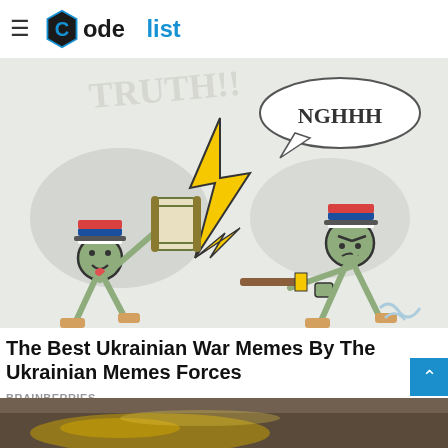CodeList (logo with hamburger menu)
[Figure (illustration): Cartoon illustration depicting two stick-figure characters wearing Russian flag caps. The left character is happy and swinging a scroll/document with 'TRUTH!!' text and yellow lightning bolt graphics. The right character is angry, holding a stick, with a speech bubble saying 'NGHHH'.]
The Best Ukrainian War Memes By The Ukrainian Memes Forces
BRAINBERRIES
[Figure (photo): Close-up photo of what appears to be a gold/metallic object on a light surface, partially visible at the bottom of the page.]